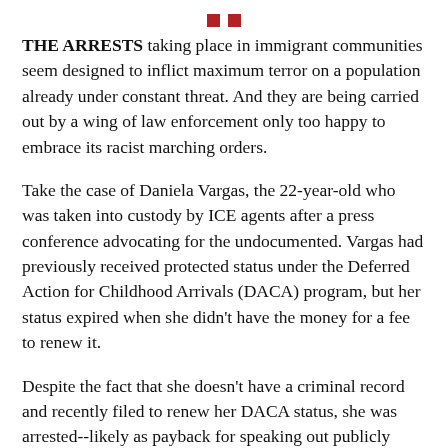[Figure (other): Two small red squares centered at the top of the page as decorative icons]
THE ARRESTS taking place in immigrant communities seem designed to inflict maximum terror on a population already under constant threat. And they are being carried out by a wing of law enforcement only too happy to embrace its racist marching orders.
Take the case of Daniela Vargas, the 22-year-old who was taken into custody by ICE agents after a press conference advocating for the undocumented. Vargas had previously received protected status under the Deferred Action for Childhood Arrivals (DACA) program, but her status expired when she didn't have the money for a fee to renew it.
Despite the fact that she doesn't have a criminal record and recently filed to renew her DACA status, she was arrested--likely as payback for speaking out publicly after her father and brother were arrested by